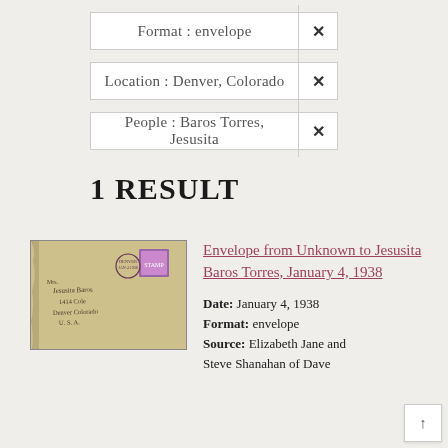Format : envelope ✕
Location : Denver, Colorado ✕
People : Baros Torres, Jesusita ✕
1 RESULT
[Figure (photo): Photograph of an old envelope addressed to Jesusita Baros Torres, Denver Colorado, U.S.A., with a postage stamp and postmark.]
Envelope from Unknown to Jesusita Baros Torres, January 4, 1938
Date: January 4, 1938
Format: envelope
Source: Elizabeth Jane and Steve Shanahan of Dave